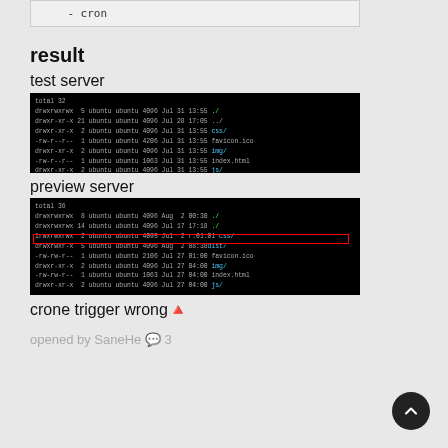- cron
result
test server
[Figure (screenshot): Terminal screenshot showing a directory listing on a test server with files: total 32, drwxrwxrwx ubuntu ubuntu 4096 Jul 31 13:55 ./, drwxr-xr-x ubuntu ubuntu 4096 Jul 28 17:05 ../, drwxr-xr-x ubuntu ubuntu 4096 Jul 31 13:55 css/, -rw-r--r-- ubuntu ubuntu 4206 Jul 31 13:55 favicon.ico, drwxr-xr-x ubuntu ubuntu 4096 Jul 31 13:55 img/, -rw-r--r-- ubuntu ubuntu 1063 Jul 31 13:55 index.html, drwxr-xr-x ubuntu ubuntu 4096 Jul 31 13:55 js/]
preview server
[Figure (screenshot): Terminal screenshot showing a directory listing on a preview server with a red rectangle highlighting the dist/ row. Files: total 36, drwxrwxrwx ubuntu ubuntu 4096 Aug 2 00:30 ./, drwxrwxrwx ubuntu ubuntu 4096 Jul 17 17:18 ./, lrwxrwxrwx ubuntu ubuntu 4095 Jul 2 r.01:01 css/, drwxrwxr-x ubuntu ubuntu 4096 Aug 2 08:38 dist/ [highlighted in red], -rw-rw-r-- ubuntu ubuntu 2106 Jul 27 01:00 favicon.ico, drwxr-xr-x ubuntu ubuntu 4096 Jul 27 04:00 img/, -rw-rw-r-- ubuntu ubuntu 1063 Jul 27 04:00 index.html, drwxr-xr-x ubuntu ubuntu 4096 Jul 27 04:00 js/]
crone trigger wrong🔺
opened by SaneHe 💬 3